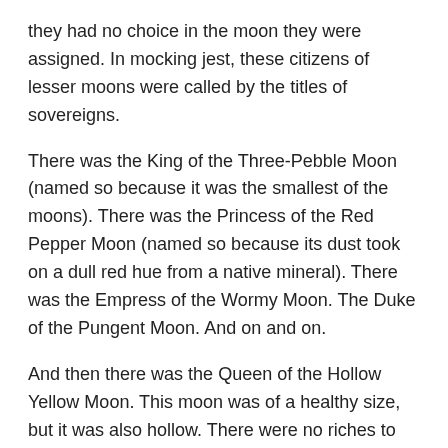they had no choice in the moon they were assigned.  In mocking jest, these citizens of lesser moons were called by the titles of sovereigns.
There was the King of the Three-Pebble Moon (named so because it was the smallest of the moons).  There was the Princess of the Red Pepper Moon (named so because its dust took on a dull red hue from a native mineral).  There was the Empress of the Wormy Moon.  The Duke of the Pungent Moon.  And on and on.
And then there was the Queen of the Hollow Yellow Moon.  This moon was of a healthy size, but it was also hollow.  There were no riches to be found in its depths, for it had no depths.  There was no beauty on its surface.  No charming or impressive inhabitants to befriend.